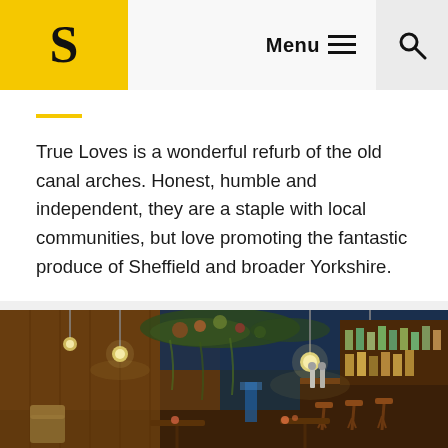S | Menu ≡ 🔍
True Loves is a wonderful refurb of the old canal arches. Honest, humble and independent, they are a staple with local communities, but love promoting the fantastic produce of Sheffield and broader Yorkshire.
[Figure (photo): Interior of True Loves bar showing warm wood panelling, hanging pendant bulb lights, floral garland decoration, a well-stocked bar counter with stools, and seating area with small tables and velvet chairs in a renovated canal arch space.]